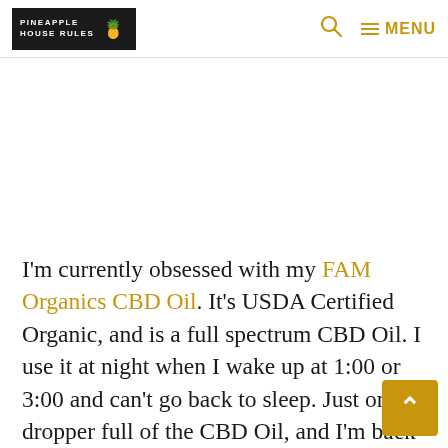PINEAPPLE HOUSE RULES | Search | MENU
I'm currently obsessed with my FAM Organics CBD Oil. It's USDA Certified Organic, and is a full spectrum CBD Oil. I use it at night when I wake up at 1:00 or 3:00 and can't go back to sleep. Just one dropper full of the CBD Oil, and I'm back to nighty night in no time. I hate when you can't get yourself back to sleep after a little noise wakes you up. Makes for a rough day the